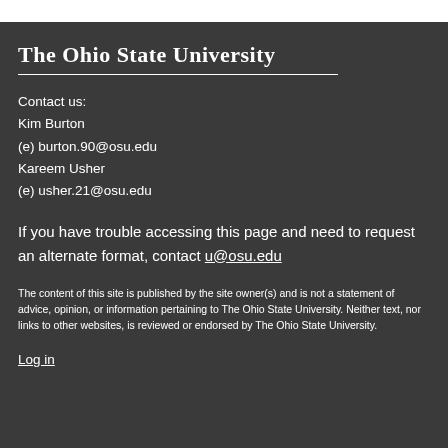The Ohio State University
Contact us:
Kim Burton
(e) burton.90@osu.edu
Kareem Usher
(e) usher.21@osu.edu
If you have trouble accessing this page and need to request an alternate format, contact u@osu.edu
The content of this site is published by the site owner(s) and is not a statement of advice, opinion, or information pertaining to The Ohio State University. Neither text, nor links to other websites, is reviewed or endorsed by The Ohio State University.
Log in